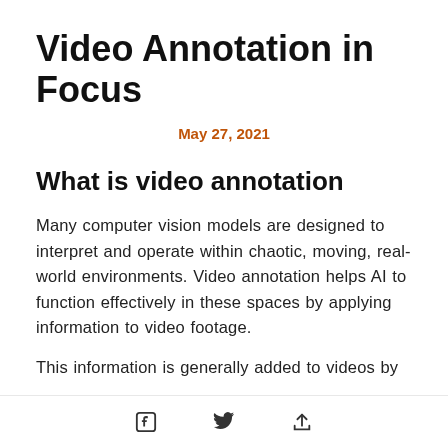Video Annotation in Focus
May 27, 2021
What is video annotation
Many computer vision models are designed to interpret and operate within chaotic, moving, real-world environments. Video annotation helps AI to function effectively in these spaces by applying information to video footage.
This information is generally added to videos by
[Facebook icon] [Twitter icon] [Share/Upload icon]